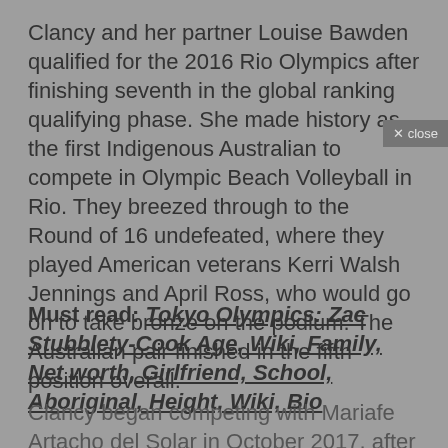Clancy and her partner Louise Bawden qualified for the 2016 Rio Olympics after finishing seventh in the global ranking qualifying phase. She made history as the first Indigenous Australian to compete in Olympic Beach Volleyball in Rio. They breezed through to the Round of 16 undefeated, where they played American veterans Kerri Walsh Jennings and April Ross, who would go on to take bronze on the podium. The Australian pair finished in the fifth position overall.
Must read: Tokyo Olympics: Zac Stubblety-Cook Age, Wiki, Family, Net worth, Girlfriend, School, Aboriginal, Height, Wiki, Bio
Clancy began competing with Mariafe Artacho del Solar in October 2017, after previously